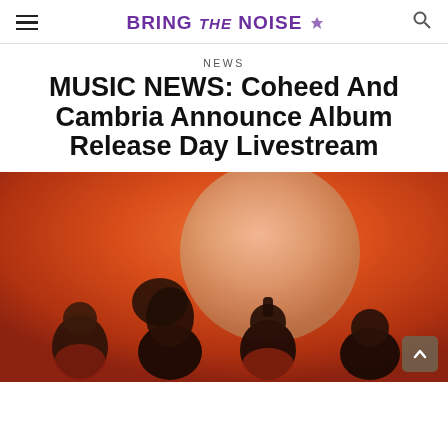BRING THE NOISE
NEWS
MUSIC NEWS: Coheed And Cambria Announce Album Release Day Livestream
[Figure (photo): Band photo of Coheed and Cambria — four members standing against a dramatic orange and red sky background with a large moon/planet visible behind them. The members are wearing dark and red clothing.]